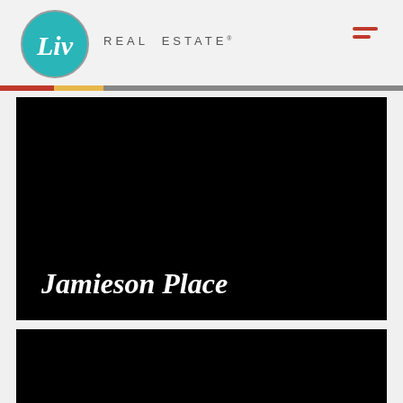Liv Real Estate
[Figure (photo): Dark/black hero image panel with bold italic white text 'Jamieson Place' at lower left]
Jamieson Place
[Figure (photo): Second dark/black image panel below the first]